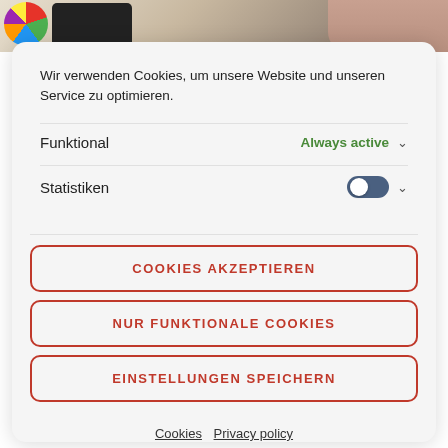[Figure (screenshot): Background image showing a colorful pie chart, a tablet device, and a person's hand/arm, partially visible behind the cookie consent modal.]
Wir verwenden Cookies, um unsere Website und unseren Service zu optimieren.
Funktional
Always active
Statistiken
COOKIES AKZEPTIEREN
NUR FUNKTIONALE COOKIES
EINSTELLUNGEN SPEICHERN
Cookies  Privacy policy